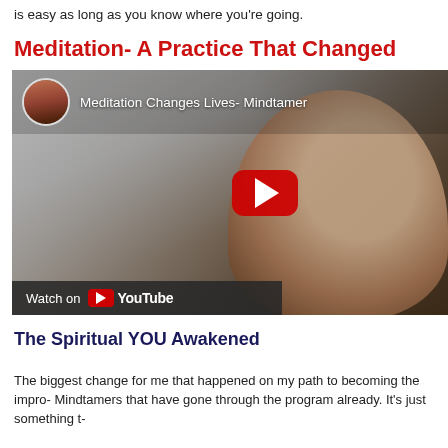is easy as long as you know where you're going.
Meditation- A Practice That Changed
[Figure (screenshot): YouTube video thumbnail for 'Meditation Changes Lives- Mindtamer' showing a man's face with bare trees in background, a circular avatar photo of a man in the top-left, a red YouTube play button in the center, and a 'Watch on YouTube' bar at the bottom.]
The Spiritual YOU Awakened
The biggest change for me that happened on my path to becoming the impro- Mindtamers that have gone through the program already. It's just something t-